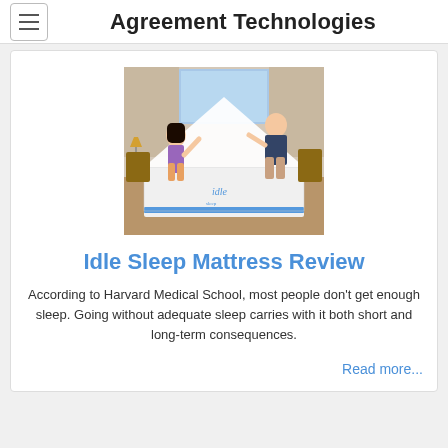Agreement Technologies
[Figure (photo): Two people (a woman and a man) holding up a white mattress labeled 'idle' in a bedroom setting]
Idle Sleep Mattress Review
According to Harvard Medical School, most people don't get enough sleep. Going without adequate sleep carries with it both short and long-term consequences.
Read more...